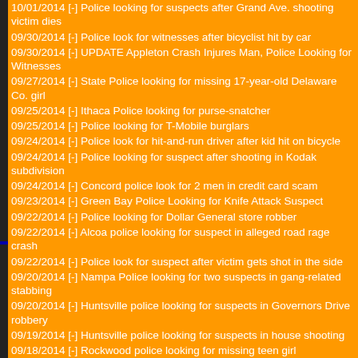10/01/2014 [-] Police looking for suspects after Grand Ave. shooting victim dies
09/30/2014 [-] Police look for witnesses after bicyclist hit by car
09/30/2014 [-] UPDATE Appleton Crash Injures Man, Police Looking for Witnesses
09/27/2014 [-] State Police looking for missing 17-year-old Delaware Co. girl
09/25/2014 [-] Ithaca Police looking for purse-snatcher
09/25/2014 [-] Police looking for T-Mobile burglars
09/24/2014 [-] Police look for hit-and-run driver after kid hit on bicycle
09/24/2014 [-] Police looking for suspect after shooting in Kodak subdivision
09/24/2014 [-] Concord police look for 2 men in credit card scam
09/23/2014 [-] Green Bay Police Looking for Knife Attack Suspect
09/22/2014 [-] Police looking for Dollar General store robber
09/22/2014 [-] Alcoa police looking for suspect in alleged road rage crash
09/22/2014 [-] Police look for suspect after victim gets shot in the side
09/20/2014 [-] Nampa Police looking for two suspects in gang-related stabbing
09/20/2014 [-] Huntsville police looking for suspects in Governors Drive robbery
09/19/2014 [-] Huntsville police looking for suspects in house shooting
09/18/2014 [-] Rockwood police looking for missing teen girl
09/18/2014 [-] Police looking for driver involved in Logan hit-and-run
09/18/2014 [-] Police find no sign of man armed with spear and gun